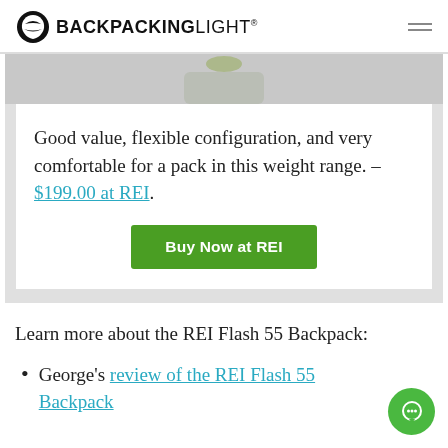BACKPACKINGLIGHT
[Figure (photo): Partial product image of REI Flash 55 Backpack visible at top of card]
Good value, flexible configuration, and very comfortable for a pack in this weight range. – $199.00 at REI.
Buy Now at REI
Learn more about the REI Flash 55 Backpack:
George's review of the REI Flash 55 Backpack